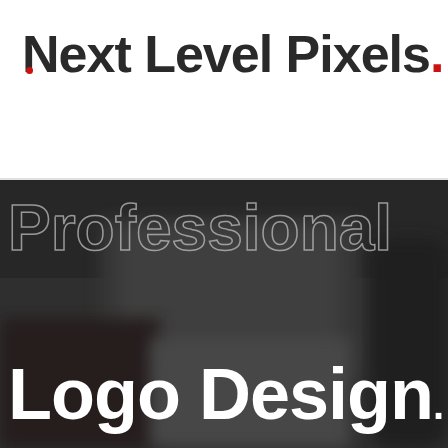[Figure (logo): Next Level Pixels logo with stylized N (red dot in N letterform) and red period at end]
[Figure (infographic): Hamburger menu icon (three horizontal lines) and search magnifying glass icon in navigation bar]
[Figure (photo): Blurred dark background photo of a person using a stylus/pen on a desk with laptop and notebook]
Professional Logo Design.